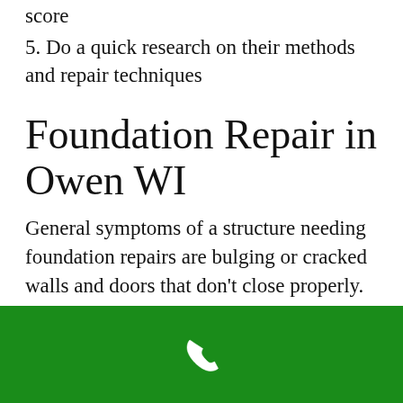score
5. Do a quick research on their methods and repair techniques
Foundation Repair in Owen WI
General symptoms of a structure needing foundation repairs are bulging or cracked walls and doors that don't close properly. Building on expansive soils is the main culprit for foundation settlement. When
[Figure (other): Green footer bar with a white phone/call icon in the center]